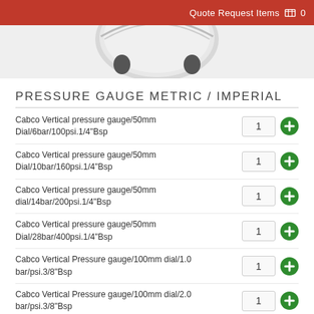Quote Request Items 0
[Figure (photo): Partial view of a pressure gauge dial, silver metal casing visible at top center]
PRESSURE GAUGE METRIC / IMPERIAL
Cabco Vertical pressure gauge/50mm Dial/6bar/100psi.1/4"Bsp
Cabco Vertical pressure gauge/50mm Dial/10bar/160psi.1/4"Bsp
Cabco Vertical pressure gauge/50mm dial/14bar/200psi.1/4"Bsp
Cabco Vertical pressure gauge/50mm Dial/28bar/400psi.1/4"Bsp
Cabco Vertical Pressure gauge/100mm dial/1.0 bar/psi.3/8"Bsp
Cabco Vertical Pressure gauge/100mm dial/2.0 bar/psi.3/8"Bsp
Cabco Vertical Pressure gauge/100mm dial/ 4.0 bar/psi.3/8 Bsp
Cabco Vertical Pressure gauge/100mm dial/ 6.0 bar/psi. 3/8"Bsp